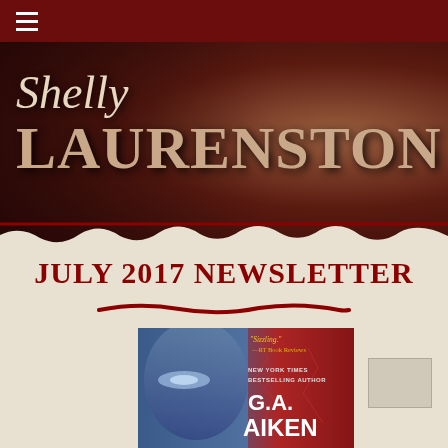Shelly Laurenston
JULY 2017 NEWSLETTER
[Figure (illustration): Book cover for G.A. Aiken title showing a blue-toned face with glowing eye on the left half and red cracked texture on the right half. Text reads: 'Sizzling.' —RT Book Reviews, NEW YORK TIMES BESTSELLING AUTHOR, G.A. AIKEN]